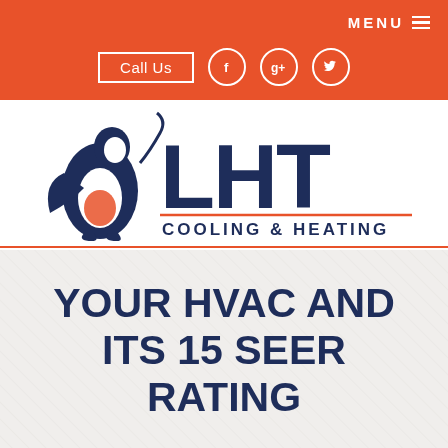MENU
Call Us
[Figure (logo): LHT Cooling & Heating logo with penguin mascot in dark navy blue. Text shows LHT in large bold letters and COOLING & HEATING below with an orange underline.]
YOUR HVAC AND ITS 15 SEER RATING